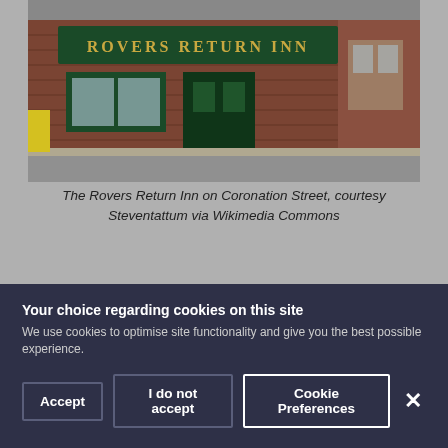[Figure (photo): Photograph of the Rovers Return Inn on Coronation Street — a brick building with a dark green pub frontage and gold lettering reading 'ROVERS RETURN INN', street-level view with cobblestones]
The Rovers Return Inn on Coronation Street, courtesy Steventattum via Wikimedia Commons
The Rovers Return Inn, built by the brewery Newton and Ridley, opened in 1902. It's been a free house since 1995,
Your choice regarding cookies on this site
We use cookies to optimise site functionality and give you the best possible experience.